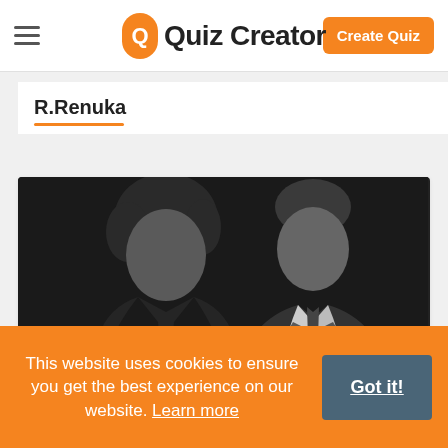Quiz Creator — Create Quiz
R.Renuka
[Figure (photo): Black and white photo of two people, a younger person with curly dark hair wearing a leather jacket on the left, and an older man in a suit with a tie on the right, appearing to be in conversation.]
This website uses cookies to ensure you get the best experience on our website. Learn more
Got it!